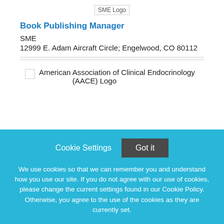[Figure (logo): SME Logo at top center]
Book Publishing Manager
SME
12999 E. Adam Aircraft Circle; Engelwood, CO 80112
[Figure (logo): American Association of Clinical Endocrinology (AACE) Logo]
Cookie Settings  Got it
We use cookies so that we can remember you and understand how you use our site. If you do not agree with our use of cookies, please change the current settings found in our Cookie Policy. Otherwise, you agree to the use of the cookies as they are currently set.